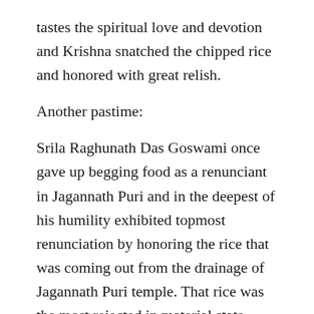tastes the spiritual love and devotion and Krishna snatched the chipped rice and honored with great relish.
Another pastime:
Srila Raghunath Das Goswami once gave up begging food as a renunciant in Jagannath Puri and in the deepest of his humility exhibited topmost renunciation by honoring the rice that was coming out from the drainage of Jagannath Puri temple. That rice was the most rejected in material state, being leftovers after the cows had chewed and spit them. This was Srila Raghunatha Das Goswami's feast everyday. When Sri Chaitanya Mahaprabhu